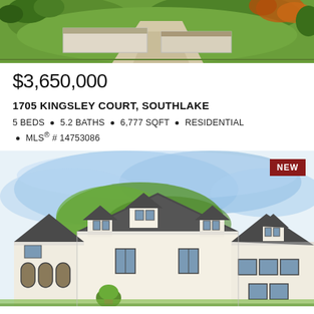[Figure (illustration): Aerial/overhead illustrated view of a residential property with green lawn, trees, and driveway]
$3,650,000
1705 KINGSLEY COURT, SOUTHLAKE
5 BEDS • 5.2 BATHS • 6,777 SQFT • RESIDENTIAL • MLS® # 14753086
[Figure (illustration): Watercolor-style illustrated rendering of a large white French/English country-style residential home with dark slate roof, dormers, arched windows, and greenery. NEW badge in upper right corner.]